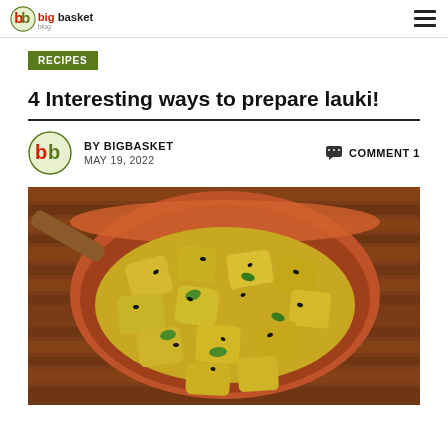bigbasket blog logo + hamburger menu
RECIPES
4 Interesting ways to prepare lauki!
BY BIGBASKET  MAY 19, 2022   COMMENT 1
[Figure (photo): A terracotta bowl filled with yellow-green lauki (bottle gourd) curry pieces garnished with black seeds and fresh herbs, placed on a wooden surface]